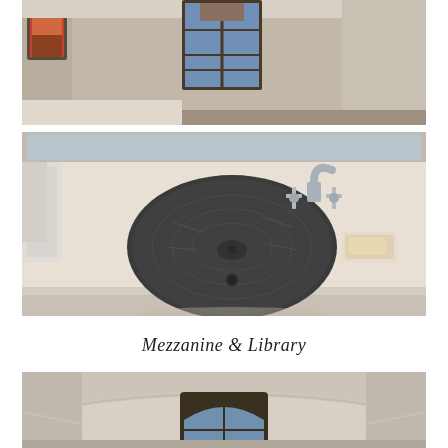[Figure (photo): Interior bathroom photo showing a stained glass window above a wall area, with framed artwork on the left wall. Neutral taupe/beige walls visible.]
[Figure (photo): Close-up photo of an ornate dark hammered metal oval undermount bathroom sink set in a white/cream stone countertop, with a brushed nickel widespread faucet and bar handle, and a soap dish with soap bar to the right. A mirror is partially visible at the top.]
Mezzanine & Library
[Figure (photo): Interior photo of a mezzanine or library space showing a vaulted ceiling with arched window at the far end, beige/cream walls and ceiling trim.]